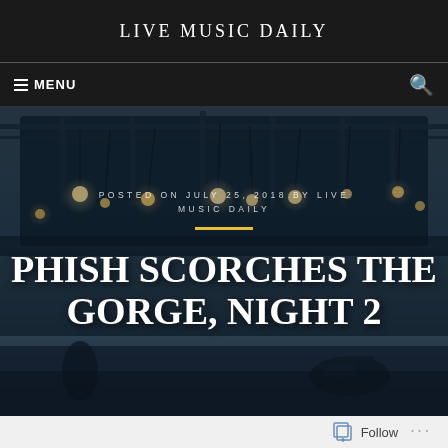LIVE MUSIC DAILY
MENU
[Figure (photo): Concert stage with hanging lights and rigging visible, dark atmospheric background with performers visible at bottom]
POSTED ON JULY 25, 2018 BY LIVE MUSIC DAILY
PHISH SCORCHES THE GORGE, NIGHT 2
Follow